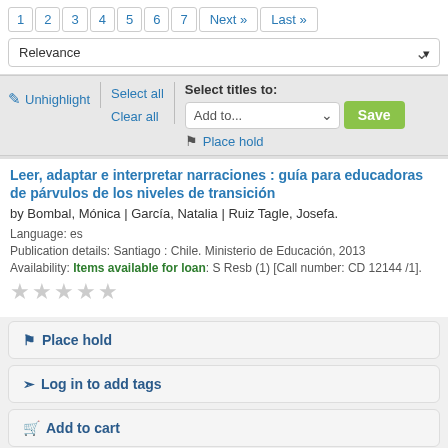Pagination: 1 2 3 4 5 6 7 Next » Last »
Sort: Relevance
Unhighlight | Select all | Clear all | Select titles to: Add to... Save | Place hold
Leer, adaptar e interpretar narraciones : guía para educadoras de párvulos de los niveles de transición
by Bombal, Mónica | García, Natalia | Ruiz Tagle, Josefa.
Language: es
Publication details: Santiago : Chile. Ministerio de Educación, 2013
Availability: Items available for loan: S Resb (1) [Call number: CD 12144 /1].
★★★★★ (5 empty stars rating)
Place hold
Log in to add tags
Add to cart